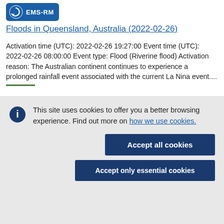[Figure (logo): EMS-RM logo badge with blue background and circular arrow icon, white text 'EMS-RM']
Floods in Queensland, Australia (2022-02-26)
Activation time (UTC): 2022-02-26 19:27:00 Event time (UTC): 2022-02-26 08:00:00 Event type: Flood (Riverine flood) Activation reason: The Australian continent continues to experience a prolonged rainfall event associated with the current La Nina event....
This site uses cookies to offer you a better browsing experience. Find out more on how we use cookies.
Accept all cookies
Accept only essential cookies